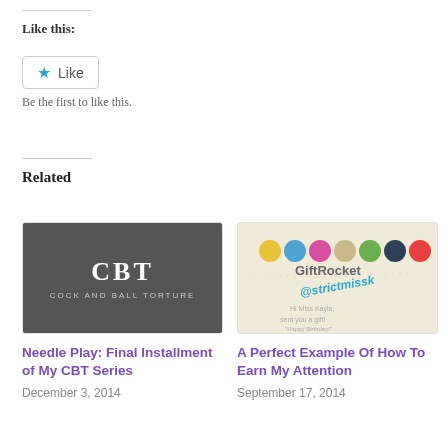Like this:
[Figure (other): WordPress Like button widget with a blue star icon and 'Like' text, followed by 'Be the first to like this.']
Related
[Figure (other): Dark gray image with white bold text reading 'CBT' and subtitle 'COCK AND BALL TORTURE']
Needle Play: Final Installment of My CBT Series
December 3, 2014
[Figure (other): GiftRocket gift card image with colorful icons, brand name 'GiftRocket', and Twitter handle '@strictmissk' written in teal diagonal text]
A Perfect Example Of How To Earn My Attention
September 17, 2014